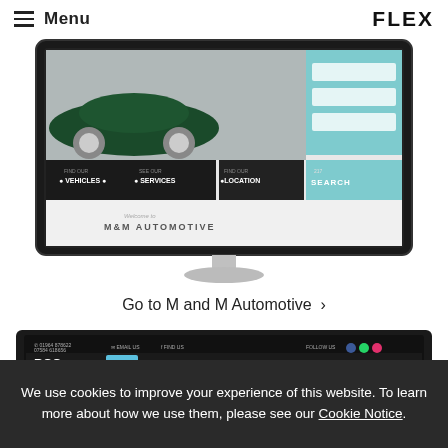Menu | FLEX
[Figure (screenshot): Screenshot of M and M Automotive website displayed on a desktop monitor mockup. The site shows a dark green classic car, navigation buttons for VEHICLES, SERVICES, LOCATION and SEARCH, with a light blue sidebar with search fields.]
Go to M and M Automotive  ›
[Figure (screenshot): Screenshot of Peverel Car Company Ltd website displayed on a laptop mockup showing PCC logo, navigation menu with HOME, SHOWROOM, PART EXCHANGE, FINANCE, WARRANTY, CONTACT, and contact details at top.]
We use cookies to improve your experience of this website. To learn more about how we use them, please see our Cookie Notice.